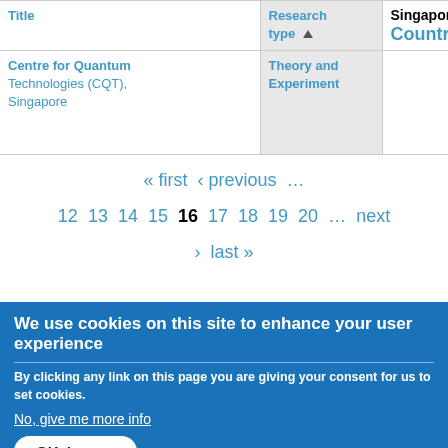| Title | Research type | Country |
| --- | --- | --- |
| Centre for Quantum Technologies (CQT), Singapore | Theory and Experiment | Singapore |
« first ‹ previous … 12 13 14 15 16 17 18 19 20 … next › last »
[Figure (other): RSS feed icon - orange square with white RSS symbol]
Search this site
We use cookies on this site to enhance your user experience
By clicking any link on this page you are giving your consent for us to set cookies.
No, give me more info
OK, I agree